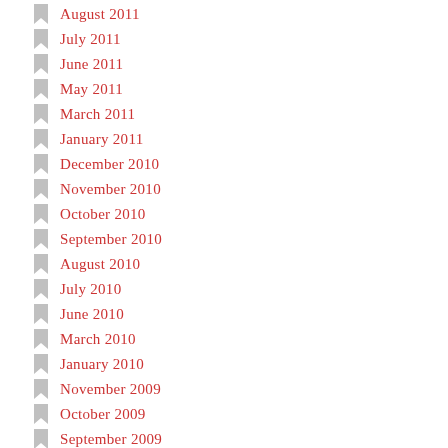August 2011
July 2011
June 2011
May 2011
March 2011
January 2011
December 2010
November 2010
October 2010
September 2010
August 2010
July 2010
June 2010
March 2010
January 2010
November 2009
October 2009
September 2009